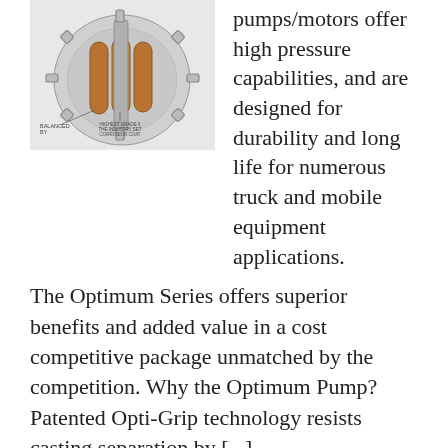[Figure (photo): Photo of a hydraulic gear pump/motor component showing metallic gears and copper-colored cylindrical parts]
pumps/motors offer high pressure capabilities, and are designed for durability and long life for numerous truck and mobile equipment applications. The Optimum Series offers superior benefits and added value in a cost competitive package unmatched by the competition. Why the Optimum Pump? Patented Opti-Grip technology resists casting separation by [...]
FILED UNDER: COMPONENTS, PUMPS / MOTORS
TAGGED WITH: MUNCIE
New line of Enrange mini wireless controls